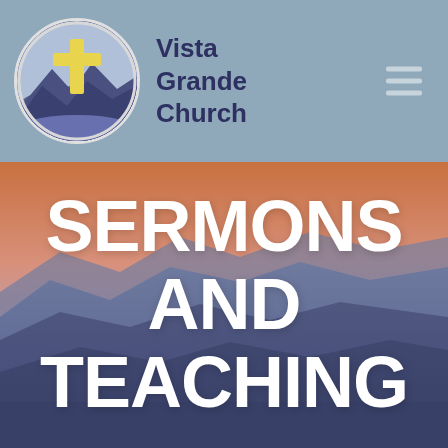[Figure (logo): Vista Grande Church logo: circular emblem with purple/blue mountain background and yellow Christian cross in center]
Vista Grande Church
SERMONS AND TEACHING
[Figure (photo): Scenic mountain landscape at dusk/dawn with layered misty blue-purple mountain ridges and warm orange-pink sky gradient]